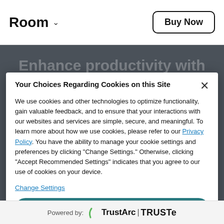Room ∨   Buy Now
Your Choices Regarding Cookies on this Site
We use cookies and other technologies to optimize functionality, gain valuable feedback, and to ensure that your interactions with our websites and services are simple, secure, and meaningful. To learn more about how we use cookies, please refer to our Privacy Policy. You have the ability to manage your cookie settings and preferences by clicking "Change Settings." Otherwise, clicking "Accept Recommended Settings" indicates that you agree to our use of cookies on your device.
Change Settings
Accept Recommended Settings
Powered by: TrustArc | TRUSTe